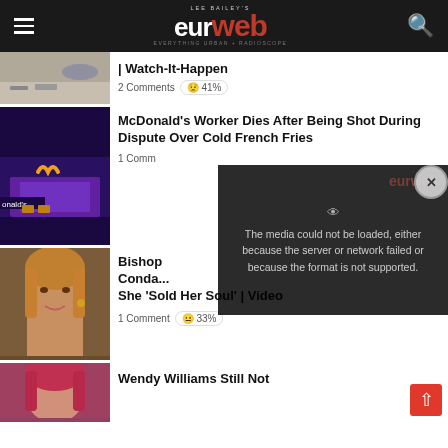Lee Bailey's eurweb — Everything Urban + Radioscope
| Watch-It-Happen
2 Comments 😟 41%
McDonald's Worker Dies After Being Shot During Dispute Over Cold French Fries
1 Comment
Bishop Conde... She 'Sold Her Soul' | Video
1 Comment 😐 33%
Wendy Williams Still Not